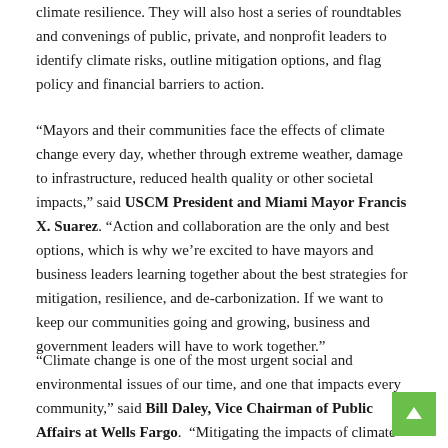climate resilience. They will also host a series of roundtables and convenings of public, private, and nonprofit leaders to identify climate risks, outline mitigation options, and flag policy and financial barriers to action.
“Mayors and their communities face the effects of climate change every day, whether through extreme weather, damage to infrastructure, reduced health quality or other societal impacts,” said USCM President and Miami Mayor Francis X. Suarez. “Action and collaboration are the only and best options, which is why we’re excited to have mayors and business leaders learning together about the best strategies for mitigation, resilience, and de-carbonization. If we want to keep our communities going and growing, business and government leaders will have to work together.”
“Climate change is one of the most urgent social and environmental issues of our time, and one that impacts every community,” said Bill Daley, Vice Chairman of Public Affairs at Wells Fargo.  “Mitigating the impacts of climate change requires commitment and